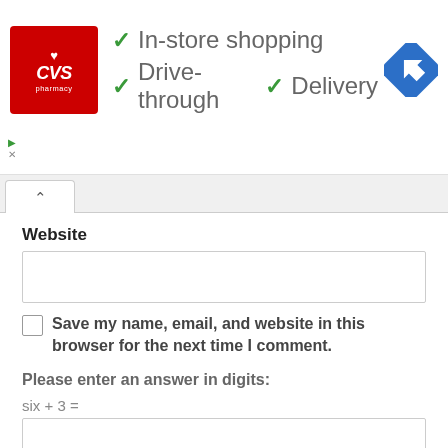[Figure (logo): CVS Pharmacy advertisement banner with checkmarks for In-store shopping, Drive-through, and Delivery, plus a blue navigation/direction icon]
Website
[Figure (screenshot): Empty text input field for website URL]
Save my name, email, and website in this browser for the next time I comment.
Please enter an answer in digits:
[Figure (screenshot): Empty text input field for math answer]
POST COMMENT